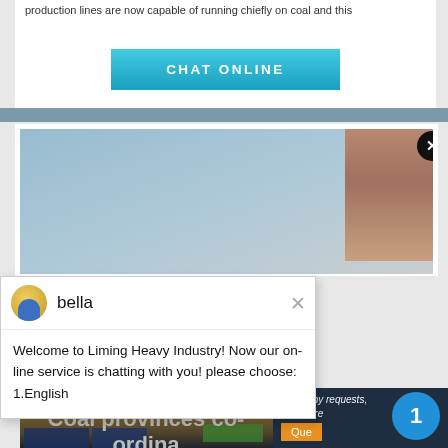production lines are now capable of running chiefly on coal and this
[Figure (screenshot): Teal/blue 'CHAT ONLINE' button]
[Figure (screenshot): Cloudy sky background image and partial person image on right side]
[Figure (screenshot): Chat popup with avatar, name 'bella', and message: Welcome to Liming Heavy Industry! Now our on-line service is chatting with you! please choose: 1.English]
[Figure (screenshot): Construction site photo showing industrial equipment and blue shipping containers]
[Figure (screenshot): Right sidebar with 'Have any requests, click here', 'Quote', '1' circle, 'Enquiry', 'limingjlmofen@sina.com']
Coal provinces co-ordina... against federal water ...